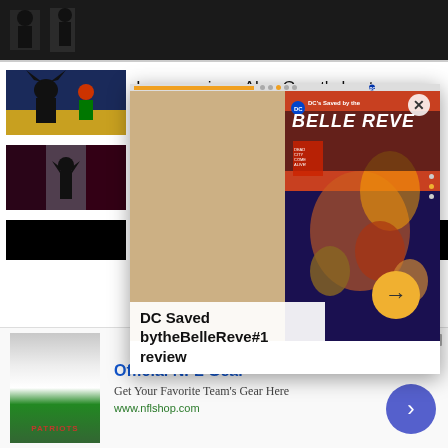[Figure (screenshot): Top dark strip with silhouetted figures]
[Figure (photo): Batman and Robin animated style thumbnail]
[Figure (photo): Batman Beyond dark red silhouette thumbnail]
In memoriam: Alan Grant's best
[Figure (screenshot): DC Saved by the Belle Reve #1 comic book cover popup overlay with orange progress bar, close X button, arrow navigation button, and caption reading 'DC Saved bytheBelleReve#1 review']
DC Saved bytheBelleReve#1 review
Official NFL Gear
Get Your Favorite Team's Gear Here
www.nflshop.com